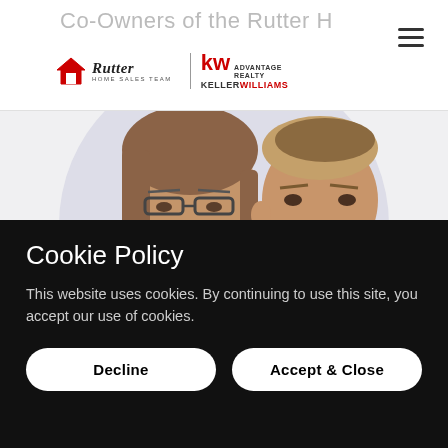Co-Owners of the Rutter H
[Figure (logo): Rutter Home Sales Team logo with house icon and Keller Williams KW Advantage Realty logo]
[Figure (photo): Two people (a woman with glasses and brown hair, a man with short hair) shown from the nose up, with a large light purple/grey circle background behind them]
Cookie Policy
This website uses cookies. By continuing to use this site, you accept our use of cookies.
Decline
Accept & Close